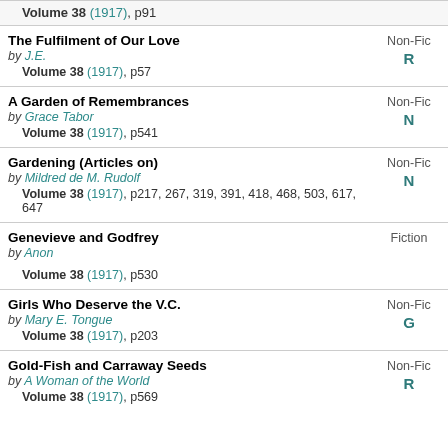Volume 38 (1917), p91
The Fulfilment of Our Love by J.E. — Non-Fic R — Volume 38 (1917), p57
A Garden of Remembrances by Grace Tabor — Non-Fic N — Volume 38 (1917), p541
Gardening (Articles on) by Mildred de M. Rudolf — Non-Fic N — Volume 38 (1917), p217, 267, 319, 391, 418, 468, 503, 617, 647
Genevieve and Godfrey by Anon — Fiction — Volume 38 (1917), p530
Girls Who Deserve the V.C. by Mary E. Tongue — Non-Fic G — Volume 38 (1917), p203
Gold-Fish and Carraway Seeds by A Woman of the World — Non-Fic R — Volume 38 (1917), p569